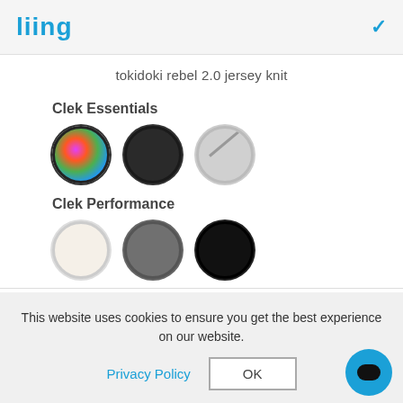liing
tokidoki rebel 2.0 jersey knit
Clek Essentials
[Figure (illustration): Three color swatches as circles: multicolor/galaxy print, dark charcoal, light gray with diagonal line]
Clek Performance
[Figure (illustration): Three color swatches as circles: cream/off-white, medium gray, black]
This website uses cookies to ensure you get the best experience on our website.
Privacy Policy   OK